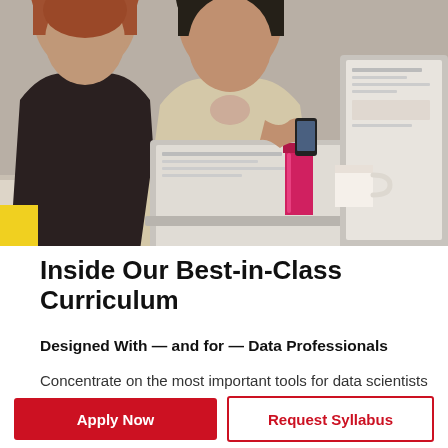[Figure (photo): Two women working together at a desk with laptops, one holding a phone, with a pink thermos and white mug visible on the table.]
Inside Our Best-in-Class Curriculum
Designed With — and for — Data Professionals
Concentrate on the most important tools for data scientists on the job. GA's data science advisory board regularly curates the best practices and
Apply Now
Request Syllabus